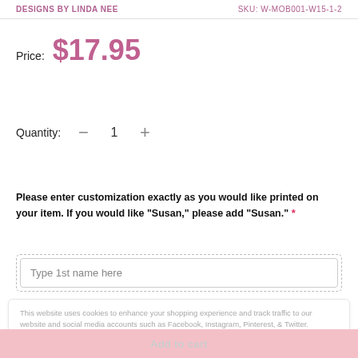DESIGNS BY LINDA NEE    SKU: W-MOB001-W15-1-2
Price:  $17.95
Quantity:   —   1   +
Please enter customization exactly as you would like printed on your item. If you would like "Susan," please add "Susan." *
Type 1st name here
This website uses cookies to enhance your shopping experience and track traffic to our website and social media accounts such as Facebook, Instagram, Pinterest, & Twitter.
Accept
Add to cart